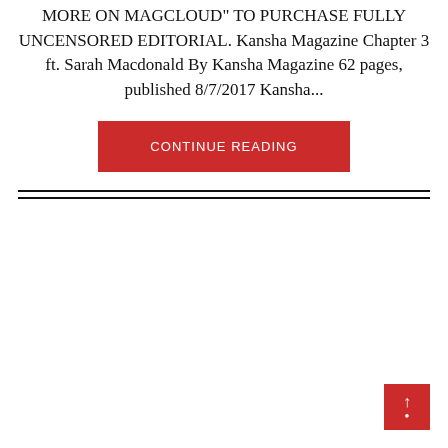MORE ON MAGCLOUD" TO PURCHASE FULLY UNCENSORED EDITORIAL. Kansha Magazine Chapter 3 ft. Sarah Macdonald By Kansha Magazine 62 pages, published 8/7/2017 Kansha...
CONTINUE READING